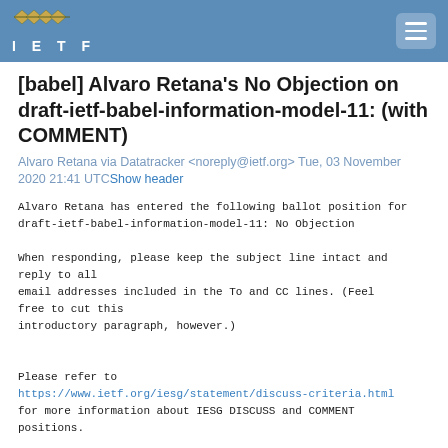IETF
[babel] Alvaro Retana's No Objection on draft-ietf-babel-information-model-11: (with COMMENT)
Alvaro Retana via Datatracker <noreply@ietf.org> Tue, 03 November 2020 21:41 UTC Show header
Alvaro Retana has entered the following ballot position for
draft-ietf-babel-information-model-11: No Objection

When responding, please keep the subject line intact and
reply to all
email addresses included in the To and CC lines. (Feel
free to cut this
introductory paragraph, however.)


Please refer to
https://www.ietf.org/iesg/statement/discuss-criteria.html
for more information about IESG DISCUSS and COMMENT
positions.